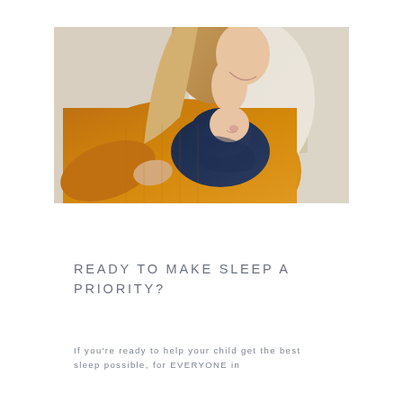[Figure (photo): A woman in an orange ribbed sweater holding and looking down at a sleeping newborn baby wrapped in a navy blue swaddle blanket. The scene is set in what appears to be a hospital room or bedroom with white pillows and a door handle visible in the background.]
READY TO MAKE SLEEP A PRIORITY?
If you're ready to help your child get the best sleep possible, for EVERYONE in